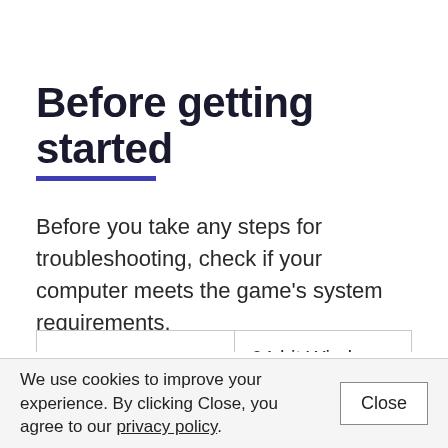Before getting started
Before you take any steps for troubleshooting, check if your computer meets the game's system requirements.
| Operating | 64-bit Windows 7 SP1 / Windows 8 / Windows 8.1 / |
We use cookies to improve your experience. By clicking Close, you agree to our privacy policy.